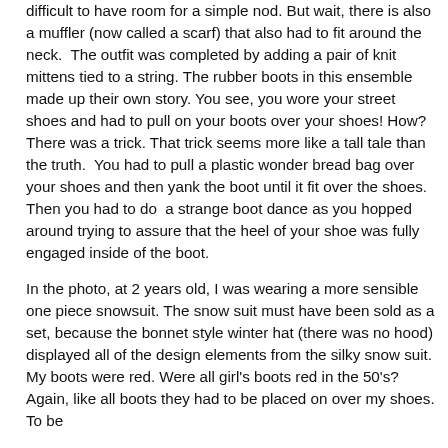difficult to have room for a simple nod. But wait, there is also a muffler (now called a scarf) that also had to fit around the neck.  The outfit was completed by adding a pair of knit mittens tied to a string. The rubber boots in this ensemble made up their own story. You see, you wore your street shoes and had to pull on your boots over your shoes! How? There was a trick. That trick seems more like a tall tale than the truth.  You had to pull a plastic wonder bread bag over your shoes and then yank the boot until it fit over the shoes. Then you had to do  a strange boot dance as you hopped around trying to assure that the heel of your shoe was fully engaged inside of the boot.
In the photo, at 2 years old, I was wearing a more sensible one piece snowsuit. The snow suit must have been sold as a set, because the bonnet style winter hat (there was no hood) displayed all of the design elements from the silky snow suit. My boots were red. Were all girl's boots red in the 50's? Again, like all boots they had to be placed on over my shoes. To be